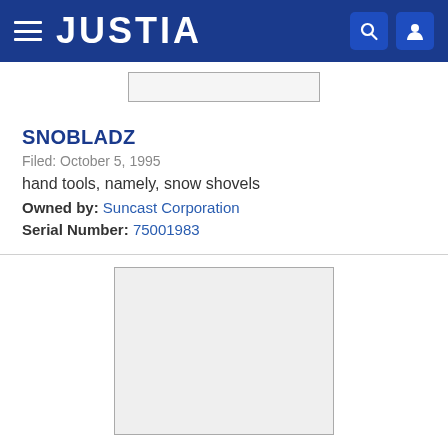JUSTIA
[Figure (other): Partial image placeholder rectangle at top, partially cropped]
SNOBLADZ
Filed: October 5, 1995
hand tools, namely, snow shovels
Owned by: Suncast Corporation
Serial Number: 75001983
[Figure (other): Large image placeholder rectangle at bottom]